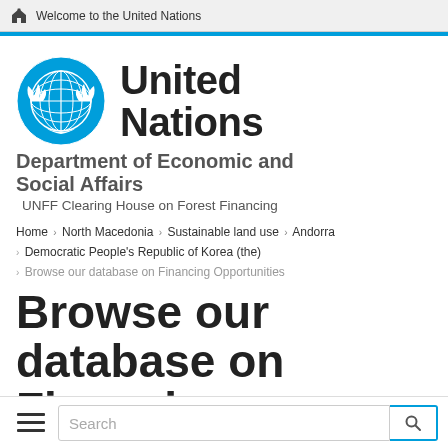Welcome to the United Nations
[Figure (logo): United Nations emblem logo in blue]
United Nations
Department of Economic and Social Affairs
UNFF Clearing House on Forest Financing
Home › North Macedonia › Sustainable land use › Andorra › Democratic People's Republic of Korea (the) › Browse our database on Financing Opportunities
Browse our database on Financing Opportunities